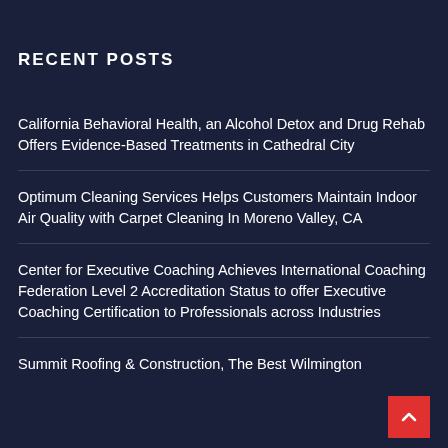RECENT POSTS
California Behavioral Health, an Alcohol Detox and Drug Rehab Offers Evidence-Based Treatments in Cathedral City
Optimum Cleaning Services Helps Customers Maintain Indoor Air Quality with Carpet Cleaning In Moreno Valley, CA
Center for Executive Coaching Achieves International Coaching Federation Level 2 Accreditation Status to offer Executive Coaching Certification to Professionals across Industries
Summit Roofing & Construction, The Best Wilmington